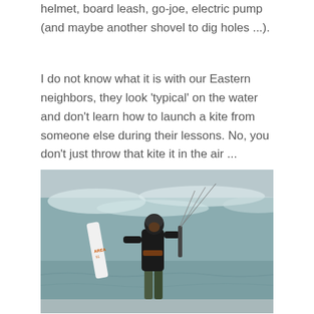helmet, board leash, go-joe, electric pump (and maybe another shovel to dig holes ...).
I do not know what it is with our Eastern neighbors, they look 'typical' on the water and don't learn how to launch a kite from someone else during their lessons. No, you don't just throw that kite it in the air ...
[Figure (photo): A kitesurfer standing at the shoreline holding a kiteboard and kite bar, wearing a black wetsuit and helmet, with ocean waves in the background.]